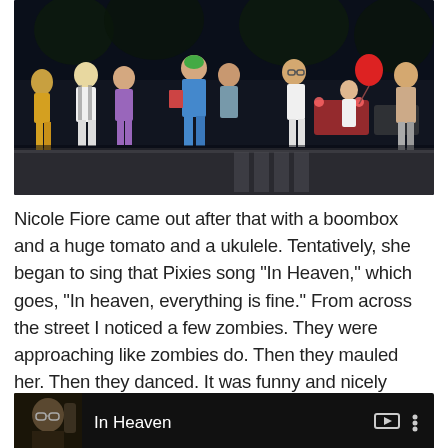[Figure (photo): Group of people standing on a street at night, appearing to be watching something. One person in the center wears a blue shirt and a green hat, reading something. A red balloon is visible on the right side. People are dressed in summer clothing.]
Nicole Fiore came out after that with a boombox and a huge tomato and a ukulele. Tentatively, she began to sing that Pixies song “In Heaven,” which goes, “In heaven, everything is fine.” From across the street I noticed a few zombies. They were approaching like zombies do. Then they mauled her. Then they danced. It was funny and nicely done by Todd Noletto and friends. Video? OK:
[Figure (screenshot): Video thumbnail showing a man with glasses in dark lighting, with the title 'In Heaven' displayed in white text, and video control icons on the right.]